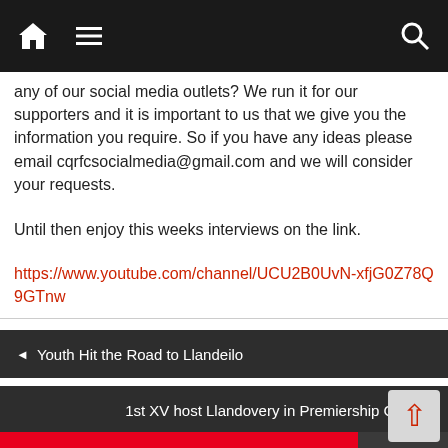Navigation bar with home, menu, and search icons
any of our social media outlets? We run it for our supporters and it is important to us that we give you the information you require. So if you have any ideas please email cqrfcsocialmedia@gmail.com and we will consider your requests.
Until then enjoy this weeks interviews on the link.
https://www.youtube.com/channel/UCU2B0UvN-xfjG0Z78Q9GTnw
◄ Youth Hit the Road to Llandeilo
1st XV host Llandovery in Premiership Cup ►
REMEMBERING A QUINS HERO